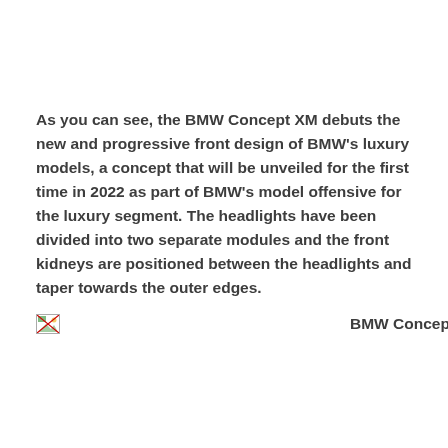As you can see, the BMW Concept XM debuts the new and progressive front design of BMW's luxury models, a concept that will be unveiled for the first time in 2022 as part of BMW's model offensive for the luxury segment. The headlights have been divided into two separate modules and the front kidneys are positioned between the headlights and taper towards the outer edges.
[Figure (photo): Broken image placeholder with alt text 'BMW Concept XM interior']